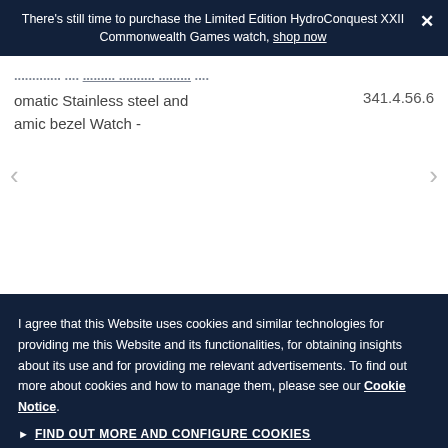There's still time to purchase the Limited Edition HydroConquest XXII Commonwealth Games watch, shop now
omatic Stainless steel and amic bezel Watch -
341.4.56.6
I agree that this Website uses cookies and similar technologies for providing me this Website and its functionalities, for obtaining insights about its use and for providing me relevant advertisements. To find out more about cookies and how to manage them, please see our Cookie Notice.
FIND OUT MORE AND CONFIGURE COOKIES